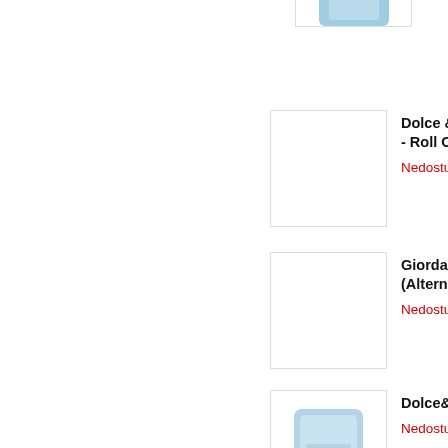[Figure (photo): Product image - blue cosmetic jar (partial, top of page)]
[Figure (photo): Product image - empty white placeholder for Dolce & Gabbana Roll On]
Dolce & Ga... - Roll On
Nedostupné
[Figure (photo): Product image - empty white placeholder for Giordano A... (Alternativa...]
Giordano A... (Alternativa...
Nedostupné
[Figure (photo): Product image - light blue rectangular perfume bottle for Dolce&Gab...]
Dolce&Gab...
Nedostupné
[Figure (photo): Product image - empty white placeholder for Dolce & Ga... voda 50ml...]
Dolce & Ga... voda 50ml...
Nedostupné